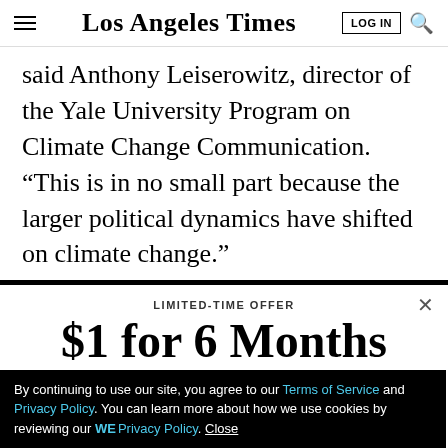Los Angeles Times — LOG IN
said Anthony Leiserowitz, director of the Yale University Program on Climate Change Communication. “This is in no small part because the larger political dynamics have shifted on climate change.”
LIMITED-TIME OFFER
$1 for 6 Months
SUBSCRIBE NOW
By continuing to use our site, you agree to our Terms of Service and Privacy Policy. You can learn more about how we use cookies by reviewing our Privacy Policy. Close